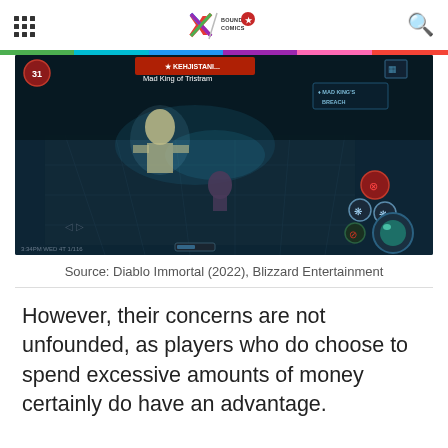[grid icon] [Bounding Into Comics logo] [search icon]
[Figure (screenshot): Diablo Immortal game screenshot showing a dungeon scene with 'Mad King of Tristram' boss fight, dark teal color palette, game UI with abilities and health indicators visible.]
Source: Diablo Immortal (2022), Blizzard Entertainment
However, their concerns are not unfounded, as players who do choose to spend excessive amounts of money certainly do have an advantage.